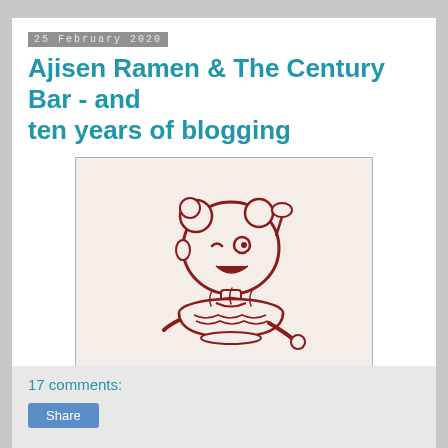25 February 2020
Ajisen Ramen & The Century Bar - and ten years of blogging
[Figure (illustration): Mascot illustration of a cartoon child holding a bowl of ramen, drawn in dark red/maroon lines on a cream background. The character has buns in hair and is smiling.]
In 2010 we wondered if writing a food blog would be a good idea. Flash forward ten years later.
17 comments:
Share